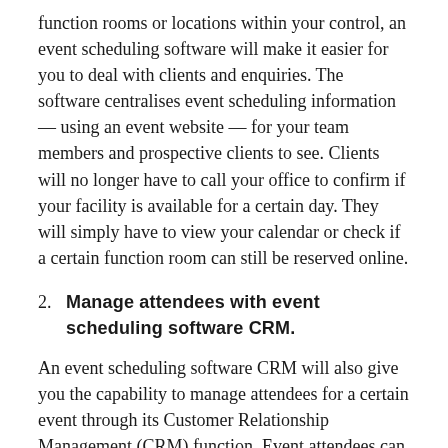function rooms or locations within your control, an event scheduling software will make it easier for you to deal with clients and enquiries. The software centralises event scheduling information — using an event website — for your team members and prospective clients to see. Clients will no longer have to call your office to confirm if your facility is available for a certain day. They will simply have to view your calendar or check if a certain function room can still be reserved online.
2. Manage attendees with event scheduling software CRM.
An event scheduling software CRM will also give you the capability to manage attendees for a certain event through its Customer Relationship Management (CRM) function. Event attendees can register online and be given the chance to provide input in terms of their unique